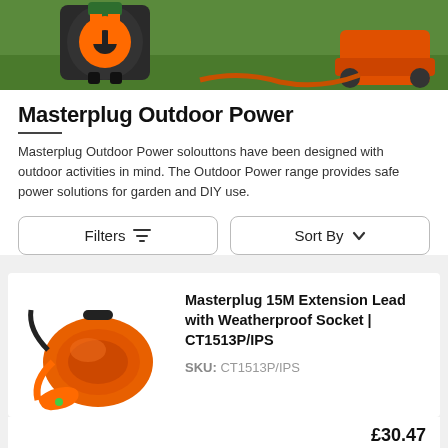[Figure (photo): Hero image showing outdoor power equipment including an orange extension lead reel and a lawn mower on grass]
Masterplug Outdoor Power
Masterplug Outdoor Power solouttons have been designed with outdoor activities in mind. The Outdoor Power range provides safe power solutions for garden and DIY use.
Filters | Sort By
[Figure (photo): Product photo of Masterplug 15M Extension Lead with Weatherproof Socket, showing an orange coiled extension cable with weatherproof socket]
Masterplug 15M Extension Lead with Weatherproof Socket | CT1513P/IPS
SKU: CT1513P/IPS
£30.47